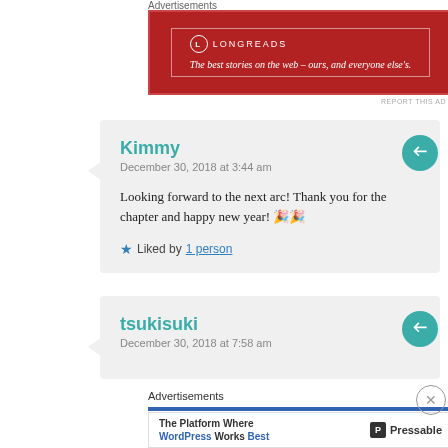Advertisements
[Figure (other): Longreads advertisement banner: red background with white text 'The best stories on the web — ours, and everyone else's.']
REPORT THIS AD
Kimmy
December 30, 2018 at 3:44 am
Looking forward to the next arc! Thank you for the chapter and happy new year! 🎉🎉
★ Liked by 1 person
tsukisuki
December 30, 2018 at 7:58 am
Advertisements
[Figure (other): Pressable advertisement: 'The Platform Where WordPress Works Best']
REPORT THIS AD